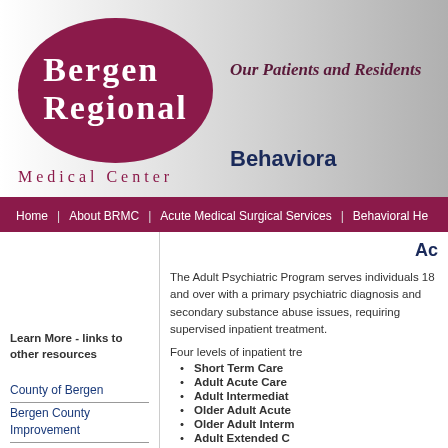[Figure (logo): Bergen Regional Medical Center logo with oval/ellipse shape in dark maroon/burgundy color containing white text 'BERGEN REGIONAL' and below 'MEDICAL CENTER' text outside the oval]
Our Patients and Residents
Behavioral
Home | About BRMC | Acute Medical Surgical Services | Behavioral He
Ad
The Adult Psychiatric Program serves individuals 18 and over with a primary psychiatric diagnosis and secondary substance abuse issues, requiring supervised inpatient treatment.
Four levels of inpatient tre
Short Term Care
Adult Acute Care
Adult Intermediate
Older Adult Acute
Older Adult Interm
Adult Extended C
Learn More - links to other resources
County of Bergen
Bergen County Improvement
Each inpatient program provides needs of each patient. C